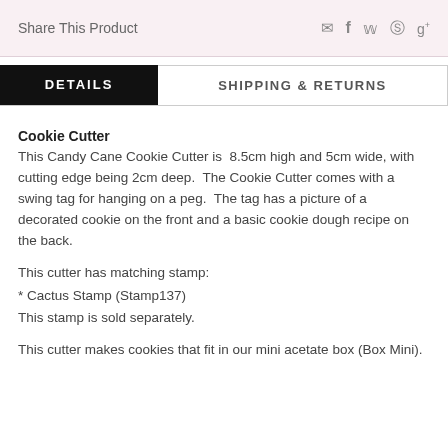Share This Product
DETAILS | SHIPPING & RETURNS
Cookie Cutter
This Candy Cane Cookie Cutter is  8.5cm high and 5cm wide, with cutting edge being 2cm deep.  The Cookie Cutter comes with a swing tag for hanging on a peg.  The tag has a picture of a decorated cookie on the front and a basic cookie dough recipe on the back.
This cutter has matching stamp:
* Cactus Stamp (Stamp137)
This stamp is sold separately.
This cutter makes cookies that fit in our mini acetate box (Box Mini).